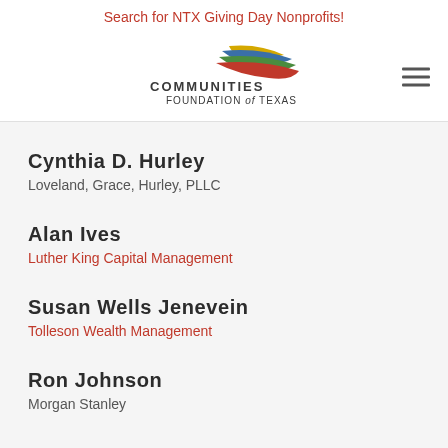Search for NTX Giving Day Nonprofits!
[Figure (logo): Communities Foundation of Texas logo with colorful swoosh graphic above text reading COMMUNITIES FOUNDATION of TEXAS]
Cynthia D. Hurley
Loveland, Grace, Hurley, PLLC
Alan Ives
Luther King Capital Management
Susan Wells Jenevein
Tolleson Wealth Management
Ron Johnson
Morgan Stanley